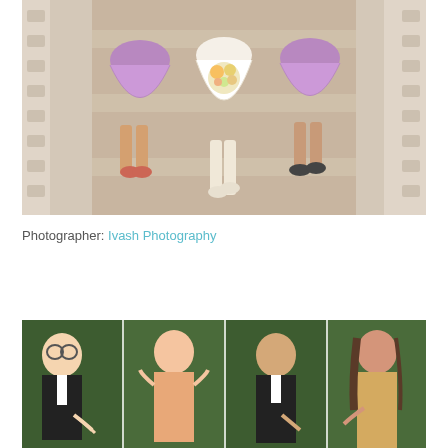[Figure (photo): Aerial/top-down view of a bride in white dress and two bridesmaids in purple/lavender dresses sitting on stone steps with classical columns on either side. The bride holds a bouquet of flowers.]
Photographer: Ivash Photography
[Figure (photo): Four-panel collage of wedding party members (two men in tuxedos and two women in dresses) posing playfully against a green ivy/hedge background, pointing at their fingers/rings.]